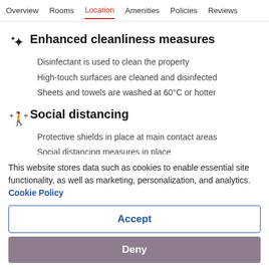Overview  Rooms  Location  Amenities  Policies  Reviews
Enhanced cleanliness measures
Disinfectant is used to clean the property
High-touch surfaces are cleaned and disinfected
Sheets and towels are washed at 60°C or hotter
Social distancing
Protective shields in place at main contact areas
Social distancing measures in place
This website stores data such as cookies to enable essential site functionality, as well as marketing, personalization, and analytics. Cookie Policy
Accept
Deny